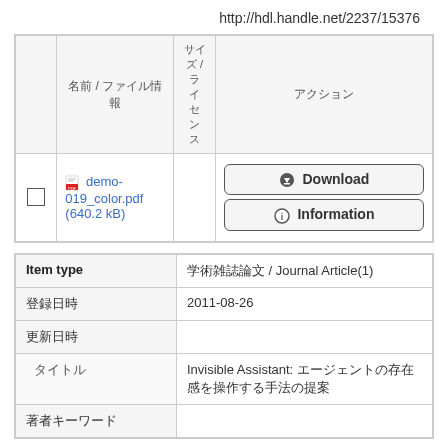http://hdl.handle.net/2237/15376
|  | 名前 / ファイル情報 | サイ ズ / ラ イセ ン ス | アクション |
| --- | --- | --- | --- |
| ☐ | demo-019_color.pdf (640.2 kB) |  | Download / Information |
| Item type | 値 |
| --- | --- |
| Item type | 学術雑誌論文 / Journal Article(1) |
| 登録日時 | 2011-08-26 |
| 更新日時 |  |
| タイトル | Invisible Assistant: エージェントの存在感を操作する手法の提案 |
| 著者キーワード |  |